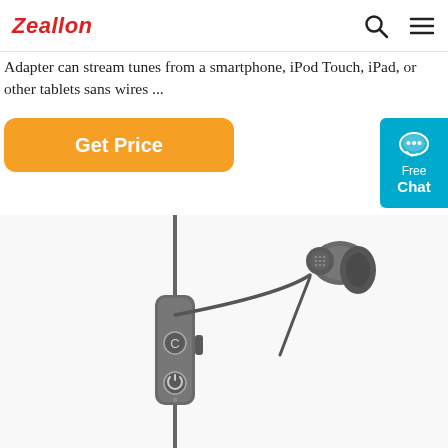Zeallon
Adapter can stream tunes from a smartphone, iPod Touch, iPad, or other tablets sans wires ...
[Figure (other): Orange 'Get Price' button]
[Figure (other): Blue 'Free Chat' widget with speech bubble icon]
[Figure (photo): Product photo of dark gray/gunmetal wired earphones with inline remote/microphone module, showing cable, control module with buttons, and earbuds on white background]